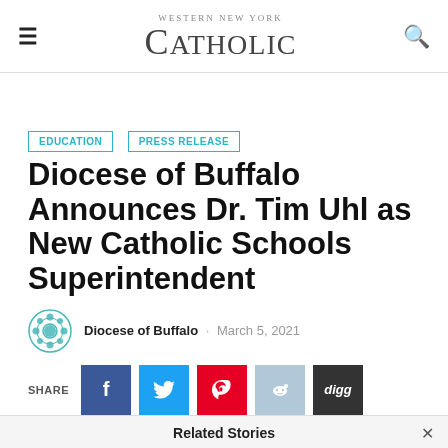Western New York Catholic
EDUCATION
PRESS RELEASE
Diocese of Buffalo Announces Dr. Tim Uhl as New Catholic Schools Superintendent
Diocese of Buffalo · March 5, 2021
SHARE
Related Stories